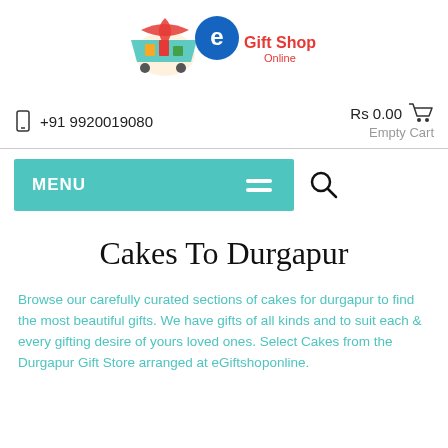[Figure (logo): eGift Shop Online logo with shopping cart and circular blue 'e' icon with red and blue 'Gift Shop Online' text]
+91 9920019080
Rs 0.00   Empty Cart
[Figure (other): Teal/turquoise MENU button with hamburger icon on the right, and a magnifying glass search icon to the right of the button]
Cakes To Durgapur
Browse our carefully curated sections of cakes for durgapur to find the most beautiful gifts. We have gifts of all kinds and to suit each & every gifting desire of yours loved ones. Select Cakes from the Durgapur Gift Store arranged at eGiftshoponline.